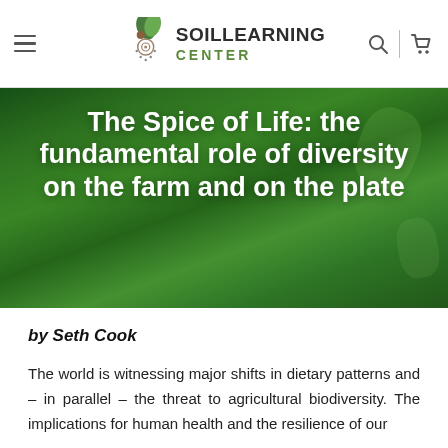Soil Learning Center — navigation header with hamburger menu, logo, search and cart icons
[Figure (photo): Green plant foliage background photo used as hero image behind the article title]
The Spice of Life: the fundamental role of diversity on the farm and on the plate
by Seth Cook
The world is witnessing major shifts in dietary patterns and – in parallel – the threat to agricultural biodiversity. The implications for human health and the resilience of our